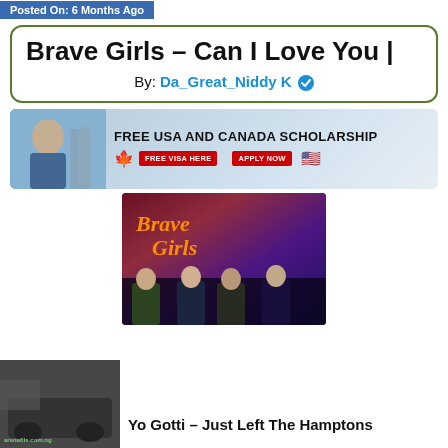Posted On: 6 Months Ago
Brave Girls – Can I Love You |
By: Da_Great_Niddy K ✓
[Figure (infographic): Advertisement banner for Free USA and Canada Scholarship with student photo, Canadian and US flags, FREE VISA HERE and APPLY NOW buttons]
[Figure (photo): Brave Girls album art with orange italic script text and four female figures silhouetted at bottom, dark purple/red background]
[Figure (photo): Thumbnail image of a car/truck, dark tones, with green watermark text arenafile.com.ng]
Yo Gotti – Just Left The Hamptons